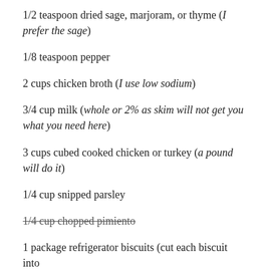1/2 teaspoon dried sage, marjoram, or thyme (I prefer the sage)
1/8 teaspoon pepper
2 cups chicken broth (I use low sodium)
3/4 cup milk (whole or 2% as skim will not get you what you need here)
3 cups cubed cooked chicken or turkey (a pound will do it)
1/4 cup snipped parsley
1/4 cup chopped pimiento
1 package refrigerator biscuits (cut each biscuit into